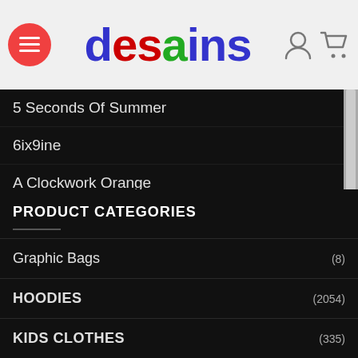desains - hamburger menu, user icon, cart icon
5 Seconds Of Summer
6ix9ine
A Clockwork Orange
A Little Life
A Nightmare On Elm Street
Aaron Paul Merch
Academic Degree
PRODUCT CATEGORIES
Graphic Bags (8)
HOODIES (2054)
KIDS CLOTHES (335)